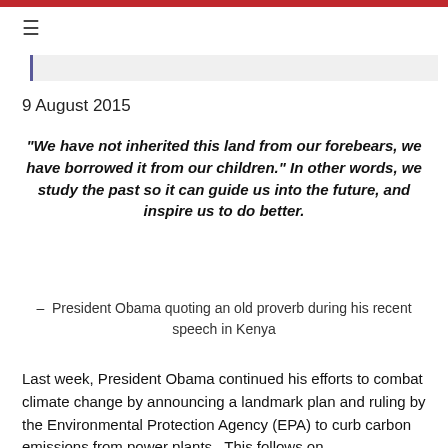≡
9 August 2015
“We have not inherited this land from our forebears, we have borrowed it from our children.” In other words, we study the past so it can guide us into the future, and inspire us to do better.
– President Obama quoting an old proverb during his recent speech in Kenya
Last week, President Obama continued his efforts to combat climate change by announcing a landmark plan and ruling by the Environmental Protection Agency (EPA) to curb carbon emissions from power plants.  This follows on